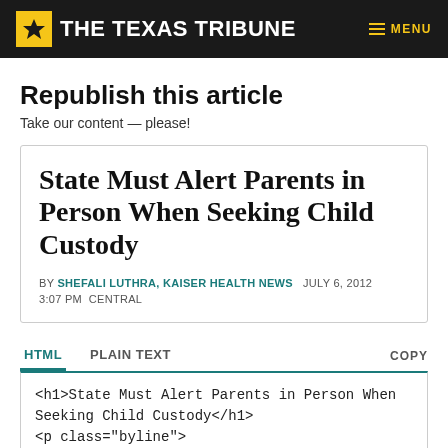THE TEXAS TRIBUNE
Republish this article
Take our content — please!
State Must Alert Parents in Person When Seeking Child Custody
BY SHEFALI LUTHRA, KAISER HEALTH NEWS   JULY 6, 2012  3:07 PM  CENTRAL
HTML   PLAIN TEXT   COPY
<h1>State Must Alert Parents in Person When Seeking Child Custody</h1>
<p class="byline">